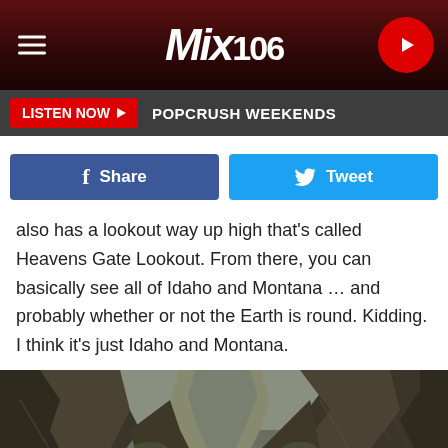Mix 106
LISTEN NOW  POPCRUSH WEEKENDS
Share  Tweet
also has a lookout way up high that's called Heavens Gate Lookout. From there, you can basically see all of Idaho and Montana … and probably whether or not the Earth is round. Kidding. I think it's just Idaho and Montana.
[Figure (photo): A dramatic narrow canyon with tall dark rock columns on either side, a stream visible at the bottom, overcast sky above.]